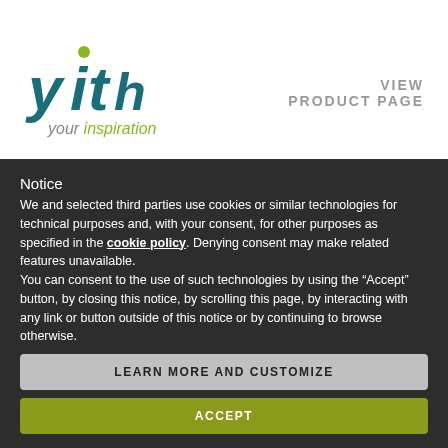[Figure (logo): YITH logo with text 'yith' in teal/dark teal and 'your inspiration' below in gray and green]
VIEW
PRODUCT PAGE
Image position:
above label
Notice
We and selected third parties use cookies or similar technologies for technical purposes and, with your consent, for other purposes as specified in the cookie policy. Denying consent may make related features unavailable.
You can consent to the use of such technologies by using the “Accept” button, by closing this notice, by scrolling this page, by interacting with any link or button outside of this notice or by continuing to browse otherwise.
LEARN MORE AND CUSTOMIZE
ACCEPT